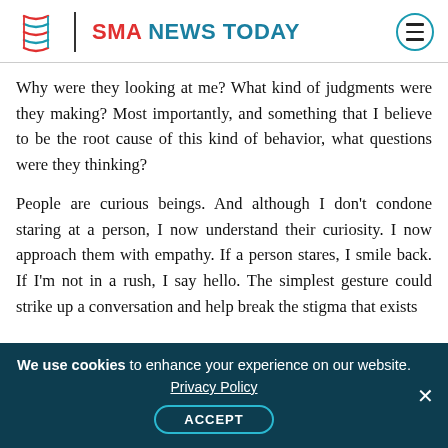SMA NEWS TODAY
Why were they looking at me? What kind of judgments were they making? Most importantly, and something that I believe to be the root cause of this kind of behavior, what questions were they thinking?
People are curious beings. And although I don't condone staring at a person, I now understand their curiosity. I now approach them with empathy. If a person stares, I smile back. If I'm not in a rush, I say hello. The simplest gesture could strike up a conversation and help break the stigma that exists
We use cookies to enhance your experience on our website. Privacy Policy ACCEPT